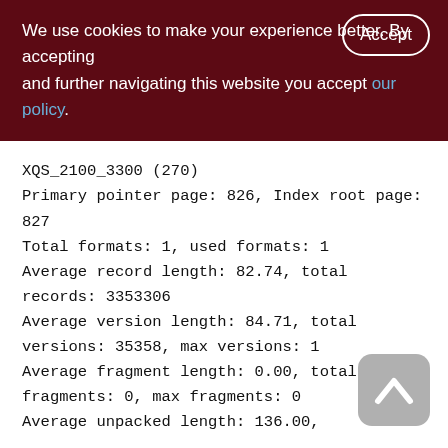We use cookies to make your experience better. By accepting and further navigating this website you accept our policy.
XQS_2100_3300 (270)
Primary pointer page: 826, Index root page: 827
Total formats: 1, used formats: 1
Average record length: 82.74, total records: 3353306
Average version length: 84.71, total versions: 35358, max versions: 1
Average fragment length: 0.00, total fragments: 0, max fragments: 0
Average unpacked length: 136.00,